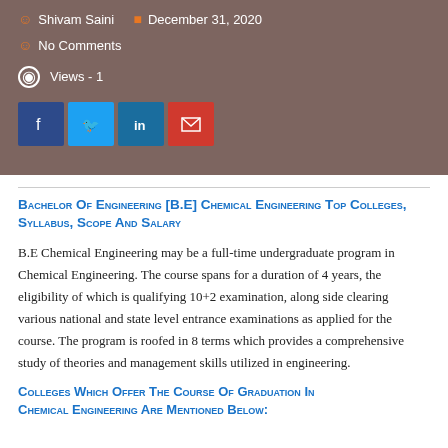Shivam Saini  December 31, 2020  No Comments  Views - 1
[Figure (other): Social media share buttons: Facebook (dark blue), Twitter (light blue), LinkedIn (medium blue), Email (red)]
Bachelor of Engineering [B.E] Chemical Engineering Top Colleges, Syllabus, Scope and Salary
B.E Chemical Engineering may be a full-time undergraduate program in Chemical Engineering. The course spans for a duration of 4 years, the eligibility of which is qualifying 10+2 examination, along side clearing various national and state level entrance examinations as applied for the course. The program is roofed in 8 terms which provides a comprehensive study of theories and management skills utilized in engineering.
Colleges which offer the course of Graduation in Chemical Engineering are mentioned below: